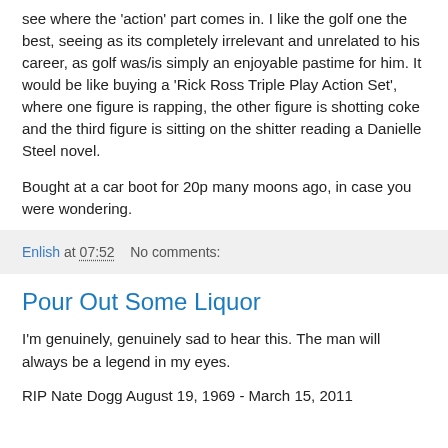see where the 'action' part comes in. I like the golf one the best, seeing as its completely irrelevant and unrelated to his career, as golf was/is simply an enjoyable pastime for him. It would be like buying a 'Rick Ross Triple Play Action Set', where one figure is rapping, the other figure is shotting coke and the third figure is sitting on the shitter reading a Danielle Steel novel.
Bought at a car boot for 20p many moons ago, in case you were wondering.
Enlish at 07:52    No comments:
Pour Out Some Liquor
I'm genuinely, genuinely sad to hear this. The man will always be a legend in my eyes.
RIP Nate Dogg August 19, 1969 - March 15, 2011